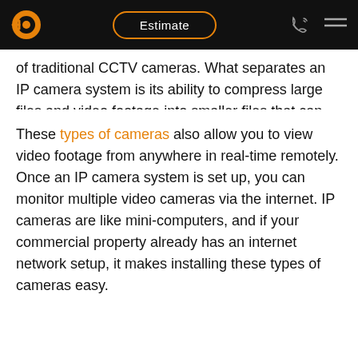Estimate
of traditional CCTV cameras. What separates an IP camera system is its ability to compress large files and video footage into smaller files that can then be transmitted via the internet by use of an Ethernet cable or a Wi-Fi network.
These types of cameras also allow you to view video footage from anywhere in real-time remotely. Once an IP camera system is set up, you can monitor multiple video cameras via the internet. IP cameras are like mini-computers, and if your commercial property already has an internet network setup, it makes installing these types of cameras easy.